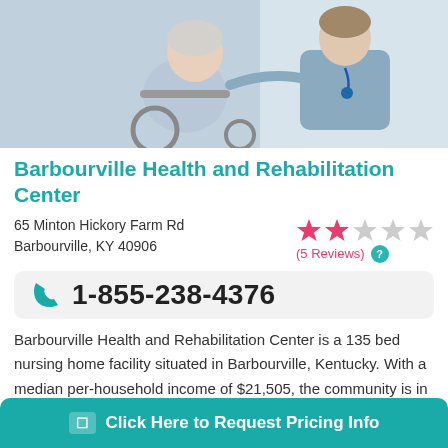[Figure (photo): Healthcare worker assisting an elderly woman in a wheelchair]
Barbourville Health and Rehabilitation Center
65 Minton Hickory Farm Rd
Barbourville, KY 40906
2 out of 5 stars (5 Reviews)
1-855-238-4376
Barbourville Health and Rehabilitation Center is a 135 bed nursing home facility situated in Barbourville, Kentucky. With a median per-household income of $21,505, the community is in a largely working class area. It has a m
Click Here to Request Pricing Info